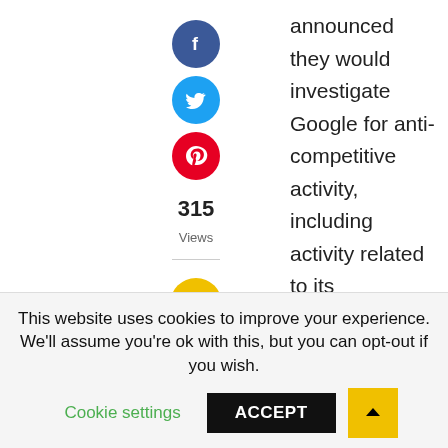[Figure (infographic): Social sharing sidebar with Facebook (blue), Twitter (cyan), Pinterest (red) circular icon buttons, a view count of 315, and a yellow comment button]
announced they would investigate Google for anti-competitive activity, including activity related to its advertising and shopping networks. In a response yesterday, Google blasted the suit as being without merit — a common tactic among pretty much every company the EU has investigated, including Microsoft and Intel.
This website uses cookies to improve your experience. We'll assume you're ok with this, but you can opt-out if you wish.
Cookie settings   ACCEPT